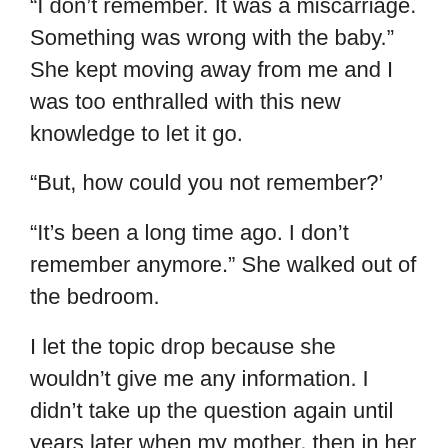“I don’t remember. It was a miscarriage. Something was wrong with the baby.” She kept moving away from me and I was too enthralled with this new knowledge to let it go.
“But, how could you not remember?’
“It’s been a long time ago. I don’t remember anymore.” She walked out of the bedroom.
I let the topic drop because she wouldn’t give me any information. I didn’t take up the question again until years later when my mother, then in her 80s, wrote a short autobiography at my request. She mentioned the loss of a baby somewhere around 1946. My sister would have been going on four years old.
My sister doesn’t remember anything, but she would have